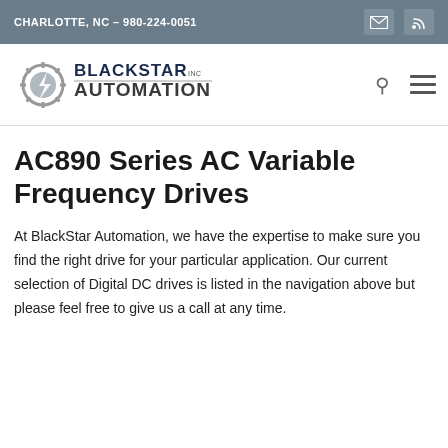CHARLOTTE, NC – 980-224-0051
[Figure (logo): BlackStar Automation Inc. logo with gear and lightning bolt icon]
AC890 Series AC Variable Frequency Drives
At BlackStar Automation, we have the expertise to make sure you find the right drive for your particular application. Our current selection of Digital DC drives is listed in the navigation above but please feel free to give us a call at any time.